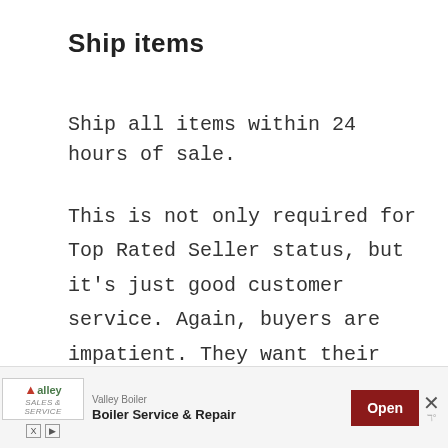Ship items
Ship all items within 24 hours of sale.
This is not only required for Top Rated Seller status, but it’s just good customer service. Again, buyers are impatient. They want their items NOW. The faster you can get it to them, the more positive ratings you will get.
[Figure (other): Advertisement banner for Valley Boiler Service & Repair with an Open button and a close X button]